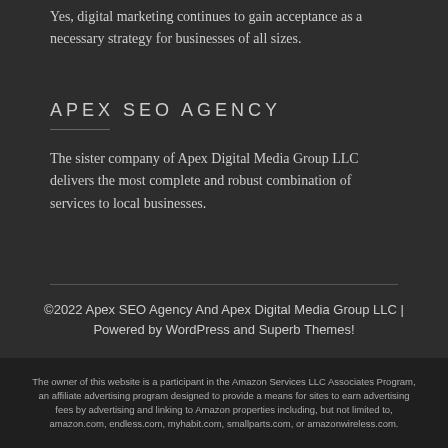Yes, digital marketing continues to gain acceptance as a necessary strategy for businesses of all sizes.
APEX SEO AGENCY
The sister company of Apex Digital Media Group LLC delivers the most complete and robust combination of services to local businesses.
©2022 Apex SEO Agency And Apex Digital Media Group LLC | Powered by WordPress and Superb Themes!
The owner of this website is a participant in the Amazon Services LLC Associates Program, an affiliate advertising program designed to provide a means for sites to earn advertising fees by advertising and linking to Amazon properties including, but not limited to, amazon.com, endless.com, myhabit.com, smallparts.com, or amazonwireless.com.